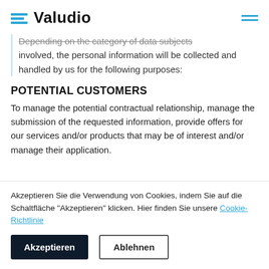Valudio
Depending on the category of data subjects involved, the personal information will be collected and handled by us for the following purposes:
POTENTIAL CUSTOMERS
To manage the potential contractual relationship, manage the submission of the requested information, provide offers for our services and/or products that may be of interest and/or manage their application.
Akzeptieren Sie die Verwendung von Cookies, indem Sie auf die Schaltfläche "Akzeptieren" klicken. Hier finden Sie unsere Cookie-Richtlinie
Akzeptieren | Ablehnen